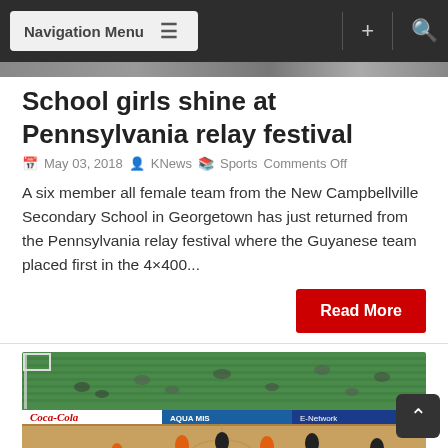Navigation Menu
[Figure (photo): Top portion of an image strip visible at the top of the article]
School girls shine at Pennsylvania relay festival
May 03, 2018  KNews  Sports Comments Off
A six member all female team from the New Campbellville Secondary School in Georgetown has just returned from the Pennsylvania relay festival where the Guyanese team placed first in the 4×400...
Read More
[Figure (photo): Basketball game being played indoors with Coca-Cola, Aqua Mist, and E-Network advertisements along the sidelines, players in orange and black uniforms, green stadium seating in background]